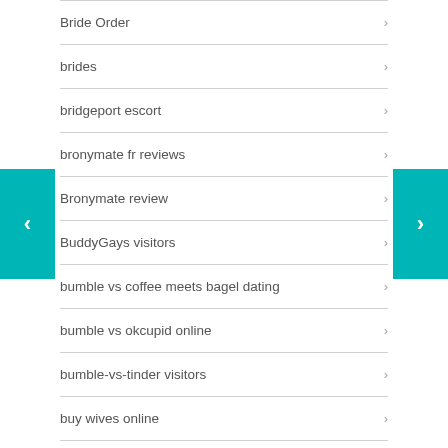Bride Order
brides
bridgeport escort
bronymate fr reviews
Bronymate review
BuddyGays visitors
bumble vs coffee meets bagel dating
bumble vs okcupid online
bumble-vs-tinder visitors
buy wives online
Buying Brides